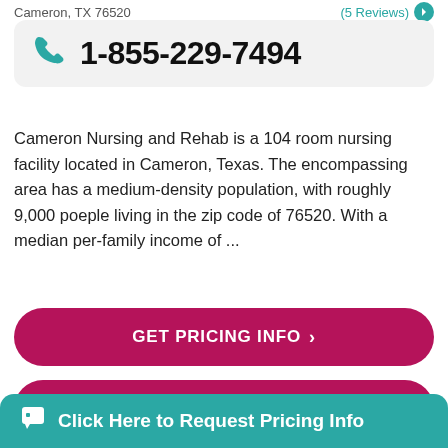Cameron, TX 76520
(5 Reviews)
1-855-229-7494
Cameron Nursing and Rehab is a 104 room nursing facility located in Cameron, Texas. The encompassing area has a medium-density population, with roughly 9,000 poeple living in the zip code of 76520. With a median per-family income of ...
GET PRICING INFO
SEE DETAILS
Click Here to Request Pricing Info